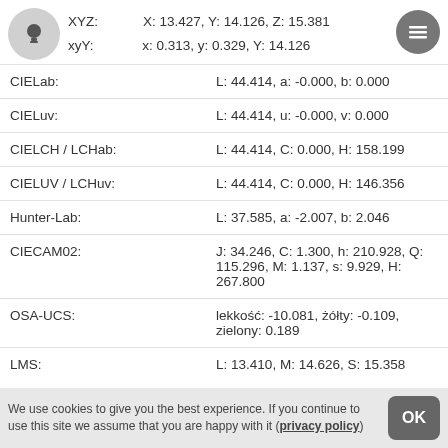| Label | Value |
| --- | --- |
| XYZ: | X: 13.427, Y: 14.126, Z: 15.381 |
| xyY: | x: 0.313, y: 0.329, Y: 14.126 |
| CIELab: | L: 44.414, a: -0.000, b: 0.000 |
| CIELuv: | L: 44.414, u: -0.000, v: 0.000 |
| CIELCH / LCHab: | L: 44.414, C: 0.000, H: 158.199 |
| CIELUV / LCHuv: | L: 44.414, C: 0.000, H: 146.356 |
| Hunter-Lab: | L: 37.585, a: -2.007, b: 2.046 |
| CIECAM02: | J: 34.246, C: 1.300, h: 210.928, Q: 115.296, M: 1.137, s: 9.929, H: 267.800 |
| OSA-UCS: | lekkość: -10.081, żółty: -0.109, zielony: 0.189 |
| LMS: | L: 13.410, M: 14.626, S: 15.358 |
We use cookies to give you the best experience. If you continue to use this site we assume that you are happy with it (privacy policy)